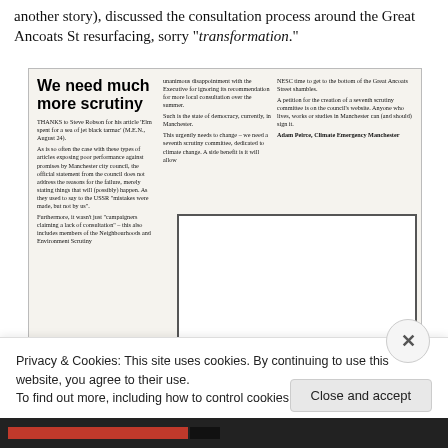another story), discussed the consultation process around the Great Ancoats St resurfacing, sorry "transformation."
[Figure (screenshot): Newspaper clipping with headline 'We need much more scrutiny' and body text in three columns about Manchester city council scrutiny, climate emergency, and a petition. Signed by Adam Peirce, Climate Emergency Manchester.]
Privacy & Cookies: This site uses cookies. By continuing to use this website, you agree to their use.
To find out more, including how to control cookies, see here: Cookie Policy
Close and accept